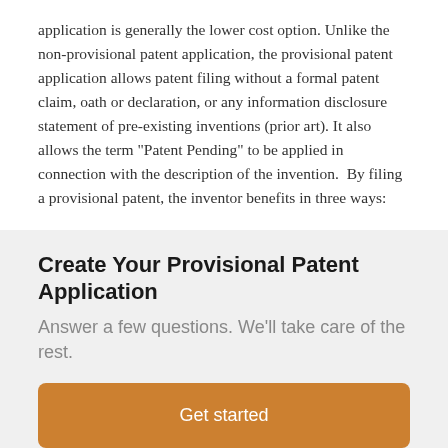application is generally the lower cost option. Unlike the non-provisional patent application, the provisional patent application allows patent filing without a formal patent claim, oath or declaration, or any information disclosure statement of pre-existing inventions (prior art). It also allows the term "Patent Pending" to be applied in connection with the description of the invention.  By filing a provisional patent, the inventor benefits in three ways:
Create Your Provisional Patent Application
Answer a few questions. We'll take care of the rest.
Get started